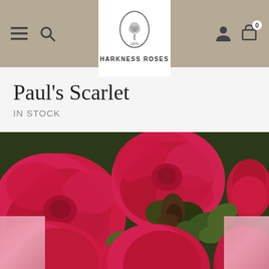HARKNESS ROSES
Paul's Scarlet
IN STOCK
[Figure (photo): Close-up photograph of bright crimson/scarlet roses in full bloom with green leaves visible between the flower heads. A rosebud is visible in the upper right. At the bottom, partial pink thumbnail images appear on the left and right sides indicating a photo gallery carousel.]